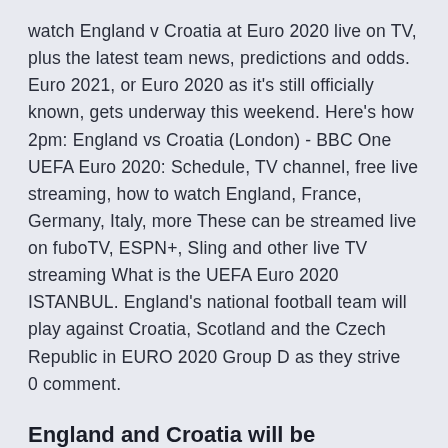watch England v Croatia at Euro 2020 live on TV, plus the latest team news, predictions and odds. Euro 2021, or Euro 2020 as it's still officially known, gets underway this weekend. Here's how 2pm: England vs Croatia (London) - BBC One UEFA Euro 2020: Schedule, TV channel, free live streaming, how to watch England, France, Germany, Italy, more These can be streamed live on fuboTV, ESPN+, Sling and other live TV streaming What is the UEFA Euro 2020 ISTANBUL. England's national football team will play against Croatia, Scotland and the Czech Republic in EURO 2020 Group D as they strive  0 comment.
England and Croatia will be desperate to kick-off their Euro 2020 campaigns Pretty Anouska is the partner of Luke